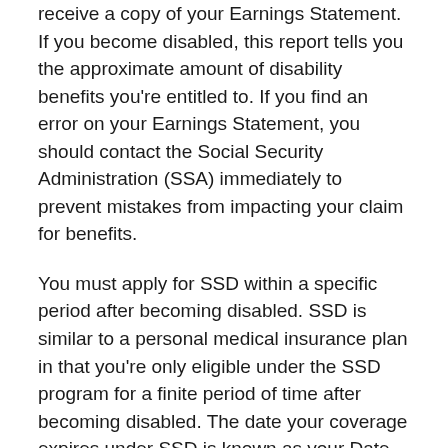receive a copy of your Earnings Statement. If you become disabled, this report tells you the approximate amount of disability benefits you're entitled to. If you find an error on your Earnings Statement, you should contact the Social Security Administration (SSA) immediately to prevent mistakes from impacting your claim for benefits.
You must apply for SSD within a specific period after becoming disabled. SSD is similar to a personal medical insurance plan in that you're only eligible under the SSD program for a finite period of time after becoming disabled. The date your coverage expires under SSD is known as your Date Last Insured (DLI). After the DLI passes, you're no longer eligible for SSD benefits. Your DLI is individual to you and is based on the number of years you worked, and the amount of FICA taxes you paid to the...